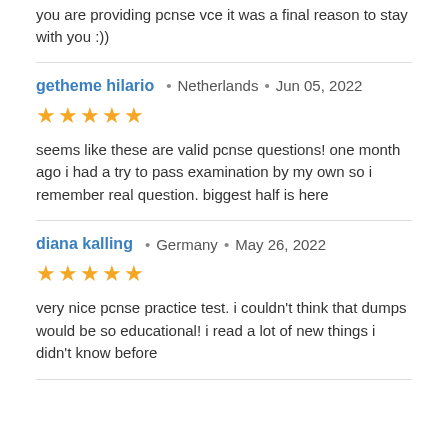you are providing pcnse vce it was a final reason to stay with you :))
getheme hilario • Netherlands • Jun 05, 2022
★★★★★
seems like these are valid pcnse questions! one month ago i had a try to pass examination by my own so i remember real question. biggest half is here
diana kalling • Germany • May 26, 2022
★★★★★
very nice pcnse practice test. i couldn't think that dumps would be so educational! i read a lot of new things i didn't know before